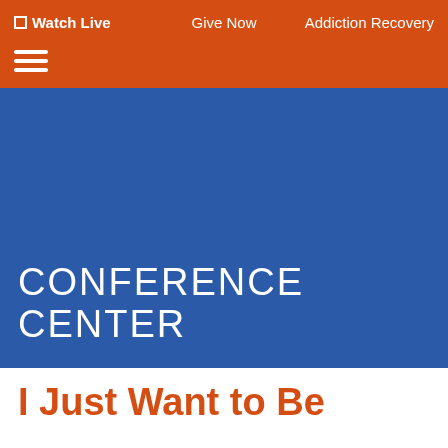Watch Live   Give Now   Addiction Recovery
[Figure (screenshot): Hamburger menu icon (three horizontal white lines) on orange navigation bar]
[Figure (photo): Blue hero banner image for Conference Center section]
CONFERENCE CENTER
I Just Want to Be